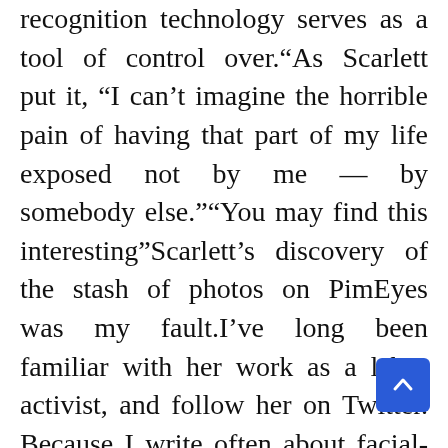recognition technology serves as a tool of control over.“As Scarlett put it, “I can’t imagine the horrible pain of having that part of my life exposed not by me — by somebody else.”“You may find this interesting”Scarlett’s discovery of the stash of photos on PimEyes was my fault.I’ve long been familiar with her work as a labor activist, and follow her on Twitter. Because I write often about facial-recognition software, I contacted her after she posted a confounding tweet in late January related to an experience she had on Facebook in October 2021. Scarlett had been